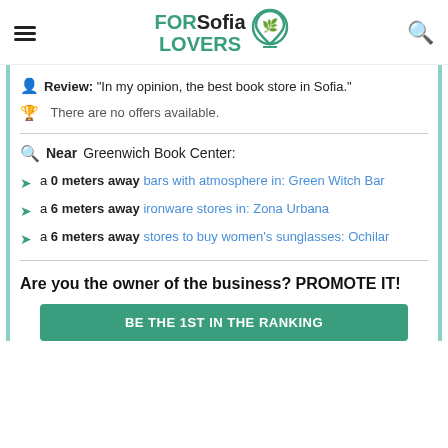FORSofia LOVERS
Review: "In my opinion, the best book store in Sofia."
There are no offers available.
Near Greenwich Book Center:
a 0 meters away bars with atmosphere in: Green Witch Bar
a 6 meters away ironware stores in: Zona Urbana
a 6 meters away stores to buy women's sunglasses: Ochilar
Are you the owner of the business? PROMOTE IT!
BE THE 1ST IN THE RANKING